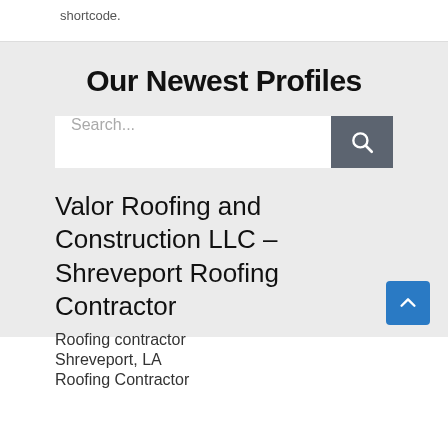shortcode.
Our Newest Profiles
Search...
Valor Roofing and Construction LLC – Shreveport Roofing Contractor
Roofing contractor
Shreveport, LA
Roofing Contractor